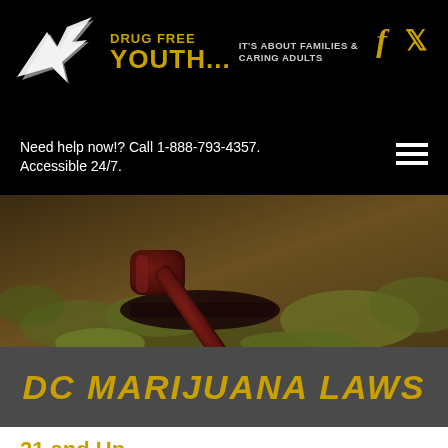[Figure (logo): Drug Free Youth logo with bird silhouette and text 'DRUG FREE YOUTH... IT'S ABOUT FAMILIES & CARING ADULTS' on black background, with Facebook and Twitter icons]
Need help now!? Call 1-888-793-4357. Accessible 24/7.
[Figure (photo): Close-up photo of a wooden gavel resting on marijuana buds on a white surface]
DC MARIJUANA LAWS
21 and Up